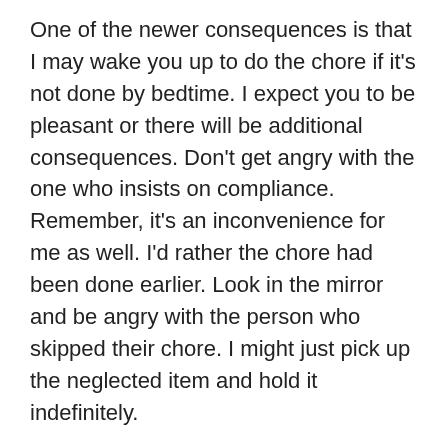One of the newer consequences is that I may wake you up to do the chore if it's not done by bedtime. I expect you to be pleasant or there will be additional consequences. Don't get angry with the one who insists on compliance. Remember, it's an inconvenience for me as well. I'd rather the chore had been done earlier. Look in the mirror and be angry with the person who skipped their chore. I might just pick up the neglected item and hold it indefinitely.
Let's do our part to keep a nice house and improve our attitudes when being told what to do. You aren't a victim; you have choices. Choose well and you'll be much happier!
Love, Mom"
The b th...